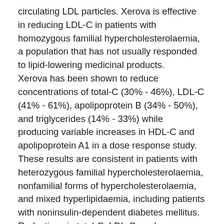circulating LDL particles. Xerova is effective in reducing LDL-C in patients with homozygous familial hypercholesterolaemia, a population that has not usually responded to lipid-lowering medicinal products. Xerova has been shown to reduce concentrations of total-C (30% - 46%), LDL-C (41% - 61%), apolipoprotein B (34% - 50%), and triglycerides (14% - 33%) while producing variable increases in HDL-C and apolipoprotein A1 in a dose response study. These results are consistent in patients with heterozygous familial hypercholesterolaemia, nonfamilial forms of hypercholesterolaemia, and mixed hyperlipidaemia, including patients with noninsulin-dependent diabetes mellitus. Reductions in total-C, LDL-C, and apolipoprotein B